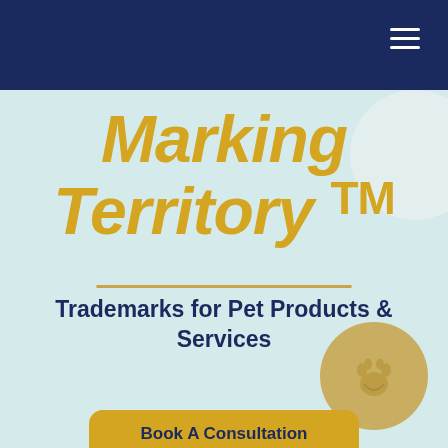Marking Territory TM
Trademarks for Pet Products & Services
Book A Consultation